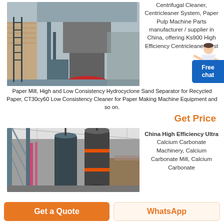[Figure (photo): Industrial machinery - large centrifugal cleaner / centricleaner system in an outdoor industrial setting with steel framework and building in background]
Centrifugal Cleaner, Centricleaner System, Paper Pulp Machine Parts manufacturer / supplier in China, offering Ks900 High Efficiency Centricleaner System, Paper Mill, High and Low Consistency Hydrocyclone Sand Separator for Recycled Paper, CT30cy60 Low Consistency Cleaner for Paper Making Machine Equipment and so on.
Get Price
[Figure (photo): Industrial facility interior showing high-efficiency ultra calcium carbonate machinery with large cylindrical processing equipment hanging from roof structure]
China High Efficiency Ultra Calcium Carbonate Machinery, Calcium Carbonate Mill, Calcium Carbonate...
Get a Quote
WhatsApp